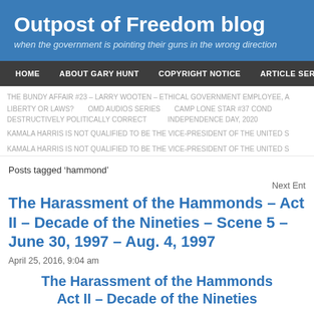Outpost of Freedom blog
when the government is pointing their guns in the wrong direction
HOME | ABOUT GARY HUNT | COPYRIGHT NOTICE | ARTICLE SERIES
THE BUNDY AFFAIR #23 – LARRY WOOTEN – ETHICAL GOVERNMENT EMPLOYEE, A
LIBERTY OR LAWS? | OMD AUDIOS SERIES | CAMP LONE STAR #37 COND
DESTRUCTIVELY POLITICALLY CORRECT | INDEPENDENCE DAY, 2020
KAMALA HARRIS IS NOT QUALIFIED TO BE THE VICE-PRESIDENT OF THE UNITED S
KAMALA HARRIS IS NOT QUALIFIED TO BE THE VICE-PRESIDENT OF THE UNITED S
Posts tagged 'hammond'
Next Ent
The Harassment of the Hammonds – Act II – Decade of the Nineties – Scene 5 – June 30, 1997 – Aug. 4, 1997
April 25, 2016, 9:04 am
The Harassment of the Hammonds Act II – Decade of the Nineties